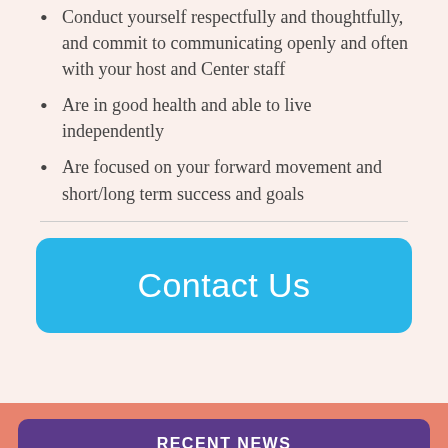Conduct yourself respectfully and thoughtfully, and commit to communicating openly and often with your host and Center staff
Are in good health and able to live independently
Are focused on your forward movement and short/long term success and goals
[Figure (other): Blue rounded rectangle button labeled 'Contact Us']
RECENT NEWS
EVENTS CALENDAR